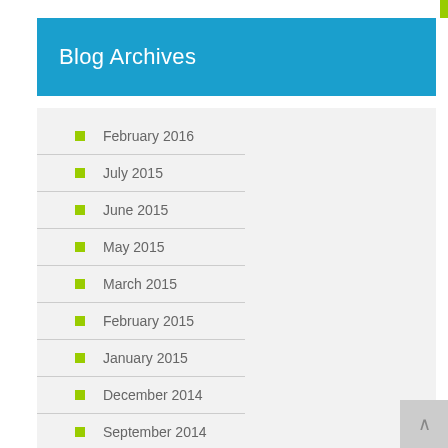Blog Archives
February 2016
July 2015
June 2015
May 2015
March 2015
February 2015
January 2015
December 2014
September 2014
August 2014